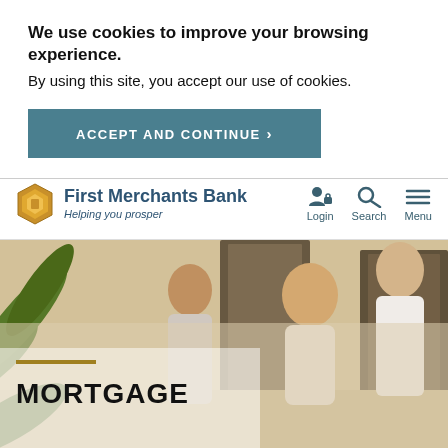We use cookies to improve your browsing experience. By using this site, you accept our use of cookies.
ACCEPT AND CONTINUE  ›
[Figure (logo): First Merchants Bank logo with gold hexagonal icon and text 'First Merchants Bank — Helping you prosper']
Login
Search
Menu
[Figure (photo): A family — parents and a young child — entering a home, smiling, with green plant leaves in the foreground. Semi-transparent warm overlay on the lower portion.]
MORTGAGE